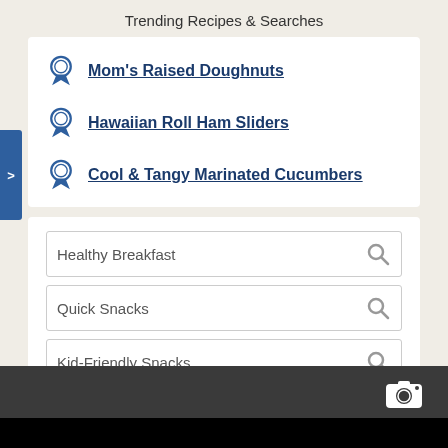Trending Recipes & Searches
Mom's Raised Doughnuts
Hawaiian Roll Ham Sliders
Cool & Tangy Marinated Cucumbers
Healthy Breakfast
Quick Snacks
Kid-Friendly Snacks
AD
[Figure (screenshot): Dark grey bottom bar with camera icon]